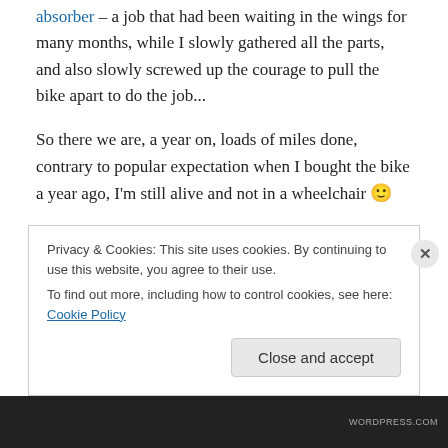absorber – a job that had been waiting in the wings for many months, while I slowly gathered all the parts, and also slowly screwed up the courage to pull the bike apart to do the job...
So there we are, a year on, loads of miles done, contrary to popular expectation when I bought the bike a year ago, I'm still alive and not in a wheelchair 🙂
It's been a blasted WET year, followed by a remarkably COLD 'spring' – but I'm still smiling and loving it – even the work on the bike. I have to confess, I love getting into it
Privacy & Cookies: This site uses cookies. By continuing to use this website, you agree to their use.
To find out more, including how to control cookies, see here: Cookie Policy